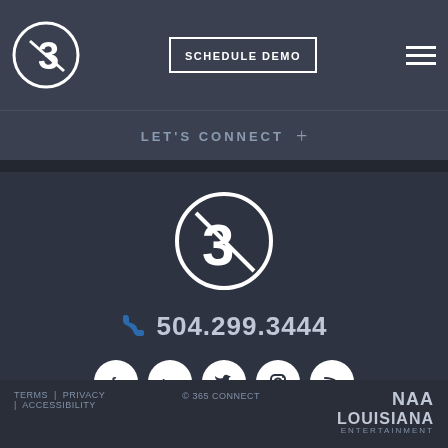[Figure (logo): 365 Connect logo — number 3 with a slash inside a white circle on dark background]
SCHEDULE DEMO
LET'S CONNECT +
[Figure (logo): 365 Connect logo — large white circle with stylized 3 and slash, centered on dark background]
504.299.3444
[Figure (illustration): Row of 5 social media icons (Facebook, LinkedIn, Twitter, Instagram, RSS) as white circles on dark background]
TERMS | PRIVACY | ACCESSIBILITY   © 365 CONNECT   NAA LOUISIANA ENTERTAINMENT